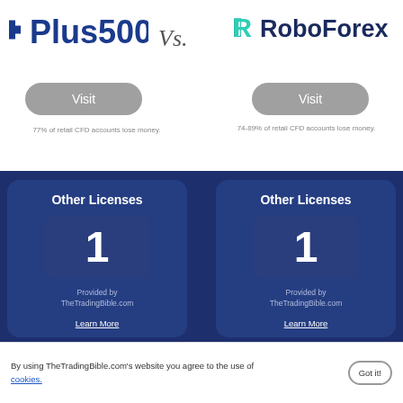[Figure (logo): Plus500 logo - blue text with plus sign]
Vs.
[Figure (logo): RoboForex logo - teal R icon with dark blue text]
Visit
Visit
77% of retail CFD accounts lose money.
74-89% of retail CFD accounts lose money.
Other Licenses
1
Provided by
TheTradingBible.com
Learn More
Other Licenses
1
Provided by
TheTradingBible.com
Learn More
By using TheTradingBible.com's website you agree to the use of cookies.